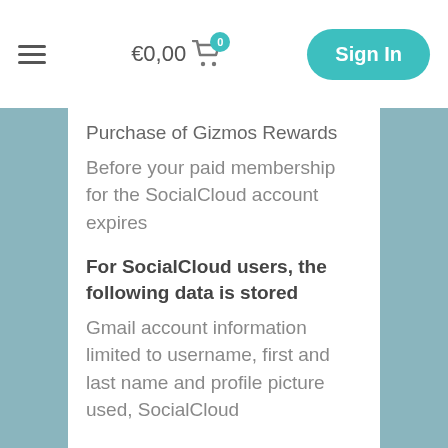€0,00  0  Sign In
Purchase of Gizmos Rewards
Before your paid membership for the SocialCloud account expires
For SocialCloud users, the following data is stored
Gmail account information limited to username, first and last name and profile picture used, SocialCloud